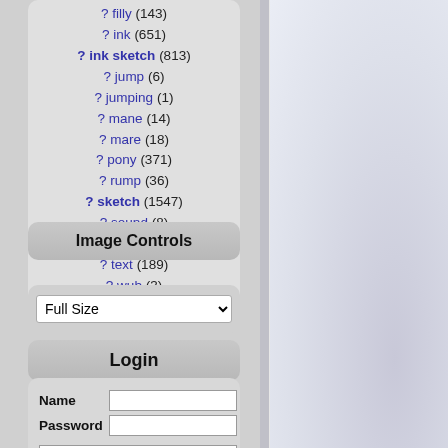? filly (143)
? ink (651)
? ink sketch (813)
? jump (6)
? jumping (1)
? mane (14)
? mare (18)
? pony (371)
? rump (36)
? sketch (1547)
? sound (8)
? tail (77)
? text (189)
? wub (3)
Image Controls
Full Size (dropdown)
Login
| Field | Input |
| --- | --- |
| Name |  |
| Password |  |
|  | Log In |